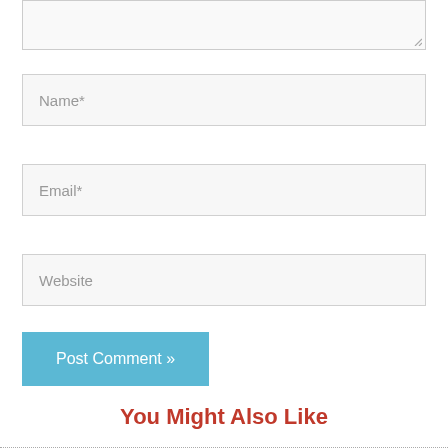[Figure (screenshot): Textarea input box (top portion cut off), partially visible at top of page]
Name*
Email*
Website
Post Comment »
You Might Also Like